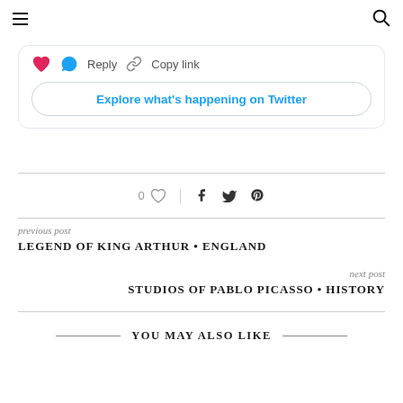≡  🔍
[Figure (screenshot): Twitter embed card with heart icon, Reply button, Copy link button, and 'Explore what's happening on Twitter' link button]
0 ♡  |  f  𝕏  𝓟
previous post
LEGEND OF KING ARTHUR • ENGLAND
next post
STUDIOS OF PABLO PICASSO • HISTORY
YOU MAY ALSO LIKE